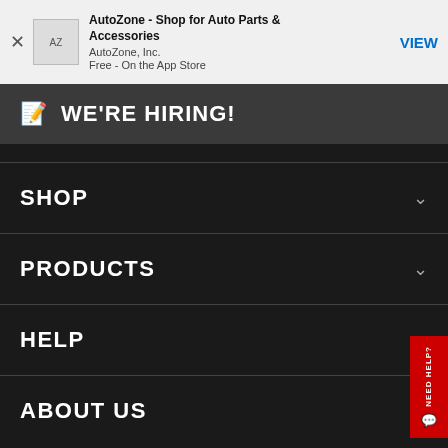[Figure (screenshot): App Store banner for AutoZone app with close button, app icon, title, publisher, price, and VIEW button]
WE'RE HIRING!
SHOP
PRODUCTS
HELP
ABOUT US